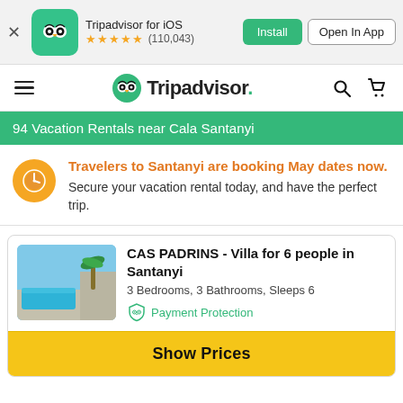[Figure (screenshot): Tripadvisor app banner with owl logo icon, app name 'Tripadvisor for iOS', star rating 4.5 stars (110,043 reviews), Install and Open In App buttons]
[Figure (logo): Tripadvisor navigation bar with hamburger menu, owl logo and Tripadvisor wordmark, search and cart icons]
94 Vacation Rentals near Cala Santanyi
Travelers to Santanyi are booking May dates now. Secure your vacation rental today, and have the perfect trip.
CAS PADRINS - Villa for 6 people in Santanyi
3 Bedrooms, 3 Bathrooms, Sleeps 6
Payment Protection
Show Prices